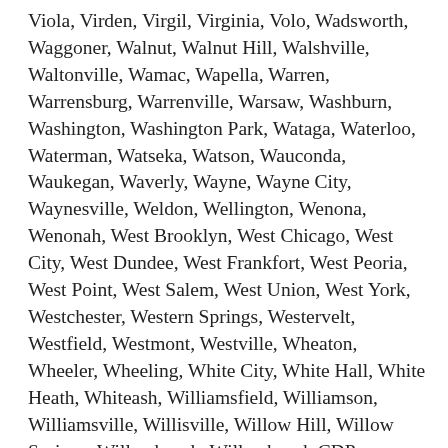Viola, Virden, Virgil, Virginia, Volo, Wadsworth, Waggoner, Walnut, Walnut Hill, Walshville, Waltonville, Wamac, Wapella, Warren, Warrensburg, Warrenville, Warsaw, Washburn, Washington, Washington Park, Wataga, Waterloo, Waterman, Watseka, Watson, Wauconda, Waukegan, Waverly, Wayne, Wayne City, Waynesville, Weldon, Wellington, Wenona, Wenonah, West Brooklyn, West Chicago, West City, West Dundee, West Frankfort, West Peoria, West Point, West Salem, West Union, West York, Westchester, Western Springs, Westervelt, Westfield, Westmont, Westville, Wheaton, Wheeler, Wheeling, White City, White Hall, White Heath, Whiteash, Williamsfield, Williamson, Williamsville, Willisville, Willow Hill, Willow Springs, Willowbrook, Willowbrook CDP, Wilmette, Wilmington, Wilmington village, Wilsonville, Winchester, Windsor, Windsor village, Winfield, Winnebago, Winnetka, Winslow, Winthrop Harbor, Witt, Wonder